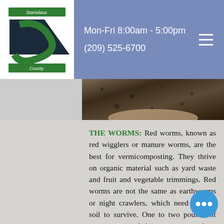Mon-Fri 8:00am - 5:00pm
(209) 525-6700
[Figure (photo): Close-up photo of hands holding dark soil or compost, visible at top of content area]
THE WORMS: Red worms, known as red wigglers or manure worms, are the best for vermicomposting. They thrive on organic material such as yard waste and fruit and vegetable trimmings. Red worms are not the same as earthworms or night crawlers, which need mineral soil to survive. One to two pounds of worms are needed to start a worm box. Worms reproduce very quickly. It is estimated that eight worms can multiply to 1,500 worms in six months. Once your system is established, there will be plenty worms to help your friends get